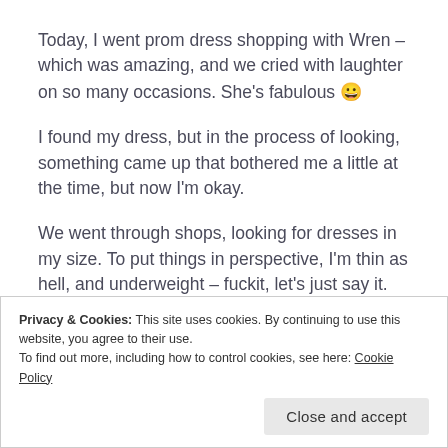Today, I went prom dress shopping with Wren – which was amazing, and we cried with laughter on so many occasions. She's fabulous 😀
I found my dress, but in the process of looking, something came up that bothered me a little at the time, but now I'm okay.
We went through shops, looking for dresses in my size. To put things in perspective, I'm thin as hell, and underweight – fuckit, let's just say it. I'm a size 6.
Privacy & Cookies: This site uses cookies. By continuing to use this website, you agree to their use.
To find out more, including how to control cookies, see here: Cookie Policy
Close and accept